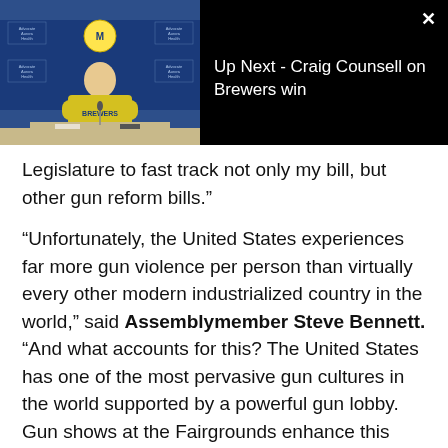[Figure (screenshot): Video overlay showing a baseball press conference with a man in a yellow Milwaukee Brewers shirt, with 'Ad 1 of 1 (0:30)' label, sponsor logos, and 'Up Next - Craig Counsell on Brewers win' text on black background with X close button]
Legislature to fast track not only my bill, but other gun reform bills.”
“Unfortunately, the United States experiences far more gun violence per person than virtually every other modern industrialized country in the world,” said Assemblymember Steve Bennett. “And what accounts for this? The United States has one of the most pervasive gun cultures in the world supported by a powerful gun lobby. Gun shows at the Fairgrounds enhance this and it is time for each of us to play a role in changing this culture.”
“Far too often, gun violence tragedies are perpetrated by individuals who have shown previous signs of violence or